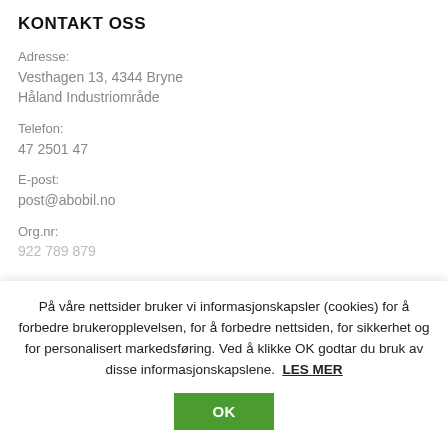KONTAKT OSS
Adresse:
Vesthagen 13, 4344 Bryne
Håland Industriområde
Telefon:
47 2501 47
E-post:
post@abobil.no
Org.nr:
922 789 879
På våre nettsider bruker vi informasjonskapsler (cookies) for å forbedre brukeropplevelsen, for å forbedre nettsiden, for sikkerhet og for personalisert markedsføring. Ved å klikke OK godtar du bruk av disse informasjonskapslene. LES MER
OK